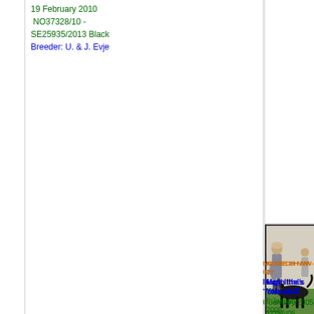19 February 2010
NO37328/10 - SE25935/2013 Black
Breeder: U. & J. Evje
[Figure (photo): A dog being shown at a dog show, handler posing with a large black dog on green floor covering]
NO SE CH NW-07
Magh Itha's Yolanda D
6 January 2005
02256/05 Black
Breeder: U. & J. Evje